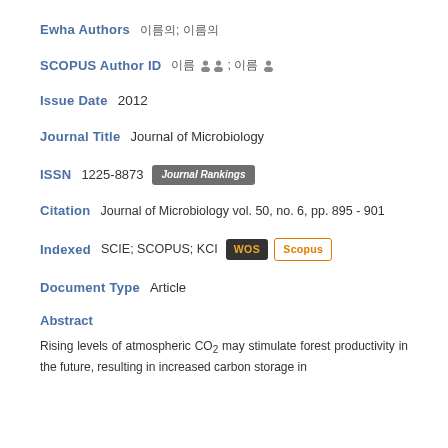Ewha Authors   이름; 이름
SCOPUS Author ID   이름 [icon][icon]; 이름 [icon]
Issue Date   2012
Journal Title   Journal of Microbiology
ISSN   1225-8873   Journal Rankings
Citation   Journal of Microbiology vol. 50, no. 6, pp. 895 - 901
Indexed   SCIE; SCOPUS; KCI   WOS   Scopus
Document Type   Article
Abstract
Rising levels of atmospheric CO2 may stimulate forest productivity in the future, resulting in increased carbon storage in